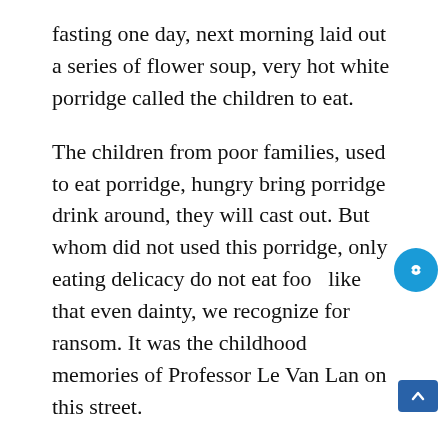fasting one day, next morning laid out a series of flower soup, very hot white porridge called the children to eat.
The children from poor families, used to eat porridge, hungry bring porridge drink around, they will cast out. But whom did not used this porridge, only eating delicacy do not eat food like that even dainty, we recognize for ransom. It was the childhood memories of Professor Le Van Lan on this street.
French colonists established the jail to detain prisoners at the No. 5 Ma May, well before the Black Flag Army headquarters, the French prison in the opposite way. This prison was set up before the Hoa Lo prison...